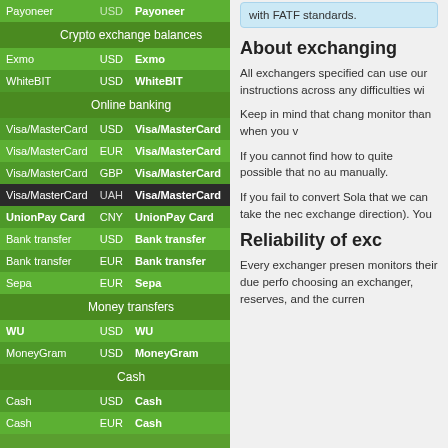| From | Currency | To | Currency |
| --- | --- | --- | --- |
| Payoneer | USD | Payoneer | USD |
| Crypto exchange balances |  |  |  |
| Exmo | USD | Exmo | USD |
| WhiteBIT | USD | WhiteBIT | USD |
| Online banking |  |  |  |
| Visa/MasterCard | USD | Visa/MasterCard | USD |
| Visa/MasterCard | EUR | Visa/MasterCard | EUR |
| Visa/MasterCard | GBP | Visa/MasterCard | GBP |
| Visa/MasterCard | UAH | Visa/MasterCard | UAH |
| UnionPay Card | CNY | UnionPay Card | CNY |
| Bank transfer | USD | Bank transfer | USD |
| Bank transfer | EUR | Bank transfer | EUR |
| Sepa | EUR | Sepa | EUR |
| Money transfers |  |  |  |
| WU | USD | WU | USD |
| MoneyGram | USD | MoneyGram | USD |
| Cash |  |  |  |
| Cash | USD | Cash | USD |
| Cash | EUR | Cash | EUR |
with FATF standards.
About exchanging
All exchangers specified can use our instructions across any difficulties wi
Keep in mind that chang monitor than when you v
If you cannot find how to quite possible that no au manually.
If you fail to convert Sola that we can take the nec exchange direction). You
Reliability of exc
Every exchanger presen monitors their due perfo choosing an exchanger, reserves, and the curren